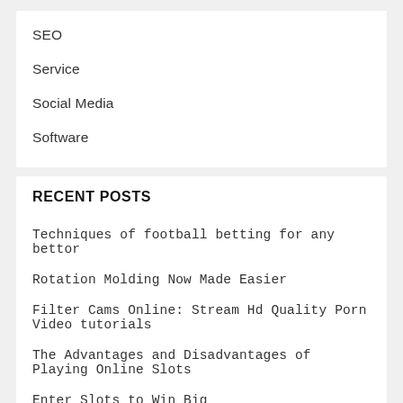SEO
Service
Social Media
Software
RECENT POSTS
Techniques of football betting for any bettor
Rotation Molding Now Made Easier
Filter Cams Online: Stream Hd Quality Porn Video tutorials
The Advantages and Disadvantages of Playing Online Slots
Enter Slots to Win Big